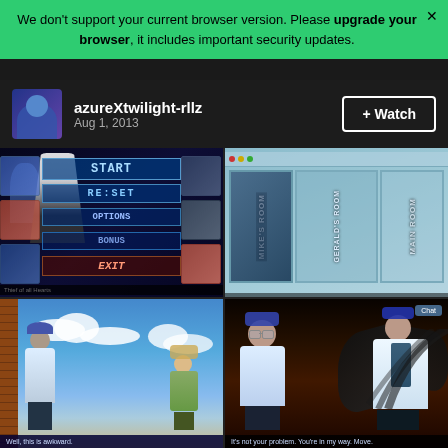We don't support your current browser version. Please upgrade your browser, it includes important security updates.
azureXtwilight-rllz
Aug 1, 2013
+ Watch
[Figure (screenshot): Anime visual novel game menu screen with dark blue background, character illustrations, and menu buttons: START, RE:SET, OPTIONS, BONUS, EXIT. Text at bottom reads 'Thief of all Hearts'.]
[Figure (screenshot): Visual novel room selection screen with panels labeled MIKE'S ROOM, GERALD'S ROOM, MAIN ROOM in vertical text on a teal/blue background.]
[Figure (screenshot): Anime scene with two characters outdoors under a blue sky with clouds. Subtitle at bottom reads 'Well, this is awkward.']
[Figure (screenshot): Dark anime scene with two male characters, one with dark wings. Chat label visible. Subtitle reads 'It's not your problem. You're in my way. Move.']